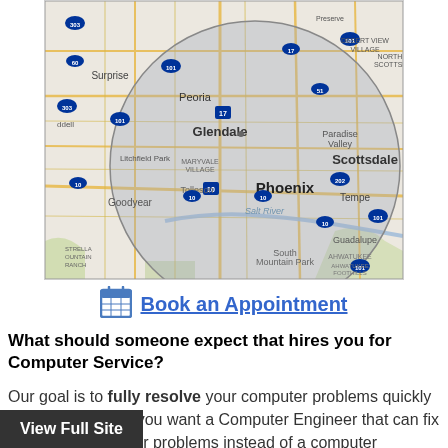[Figure (map): Map of Phoenix metro area showing service radius circle covering Surprise, Peoria, Glendale, Scottsdale, Phoenix, Tempe, Goodyear, Tolleson, Litchfield Park, Paradise Valley, South Mountain Park, and surrounding areas. A gray circle overlay indicates the service area. Major highways including I-10, I-17, Loop 101, Loop 202, US-60, SR-51, SR-303 are visible.]
Book an Appointment
What should someone expect that hires you for Computer Service?
Our goal is to fully resolve your computer problems quickly and completely. If you want a Computer Engineer that can fix all of your computer problems instead of a computer